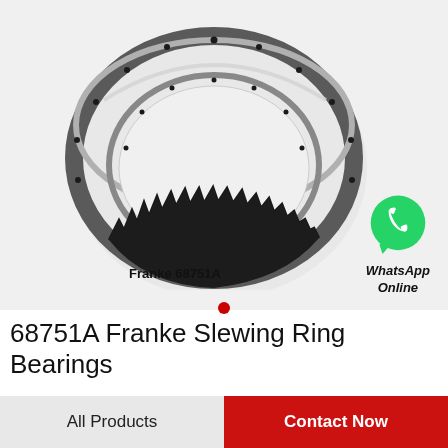[Figure (photo): Franke 68751A slewing ring bearing — a large circular steel ring with external gear teeth around the outer perimeter and bolt holes visible, photographed against a light background. Label 'Franke 68751A' appears below the bearing image.]
68751A Franke Slewing Ring Bearings
All Products
Contact Now